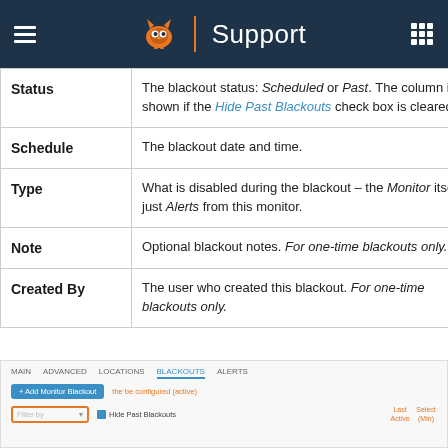Support
| Column | Description |
| --- | --- |
| Status | The blackout status: Scheduled or Past. The column is shown if the Hide Past Blackouts check box is cleared. |
| Schedule | The blackout date and time. |
| Type | What is disabled during the blackout – the Monitor itself, or just Alerts from this monitor. |
| Note | Optional blackout notes. For one-time blackouts only. |
| Created By | The user who created this blackout. For one-time blackouts only. |
[Figure (screenshot): Screenshot of the Blackouts tab interface showing navigation tabs (MAIN, ADVANCED, LOCATIONS, BLACKOUTS, ALERTS), an Add Monitor Blackout button, filter dropdown, and Hide Past Blackouts checkbox.]